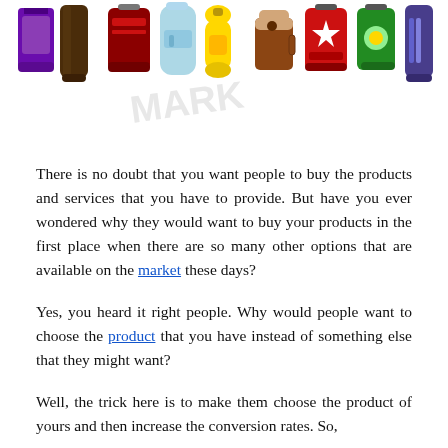[Figure (illustration): A row of colorful beverage and product illustrations: a dark red soda can, a light blue water bottle, a yellow bottle, a coffee cup, a red can with star, a green can, a purple/blue slim can, a dark brown bottle, and a purple bag/package, against a white background with faint watermark text.]
There is no doubt that you want people to buy the products and services that you have to provide. But have you ever wondered why they would want to buy your products in the first place when there are so many other options that are available on the market these days?
Yes, you heard it right people. Why would people want to choose the product that you have instead of something else that they might want?
Well, the trick here is to make them choose the product of yours and then increase the conversion rates. So,